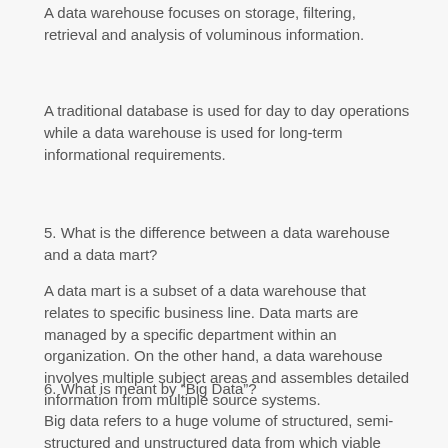A data warehouse focuses on storage, filtering, retrieval and analysis of voluminous information.
A traditional database is used for day to day operations while a data warehouse is used for long-term informational requirements.
5. What is the difference between a data warehouse and a data mart?
A data mart is a subset of a data warehouse that relates to specific business line. Data marts are managed by a specific department within an organization. On the other hand, a data warehouse involves multiple subject areas and assembles detailed information from multiple source systems.
6. What is meant by “Big Data”?
Big data refers to a huge volume of structured, semi-structured and unstructured data from which viable information can be extracted. This kind of data is so